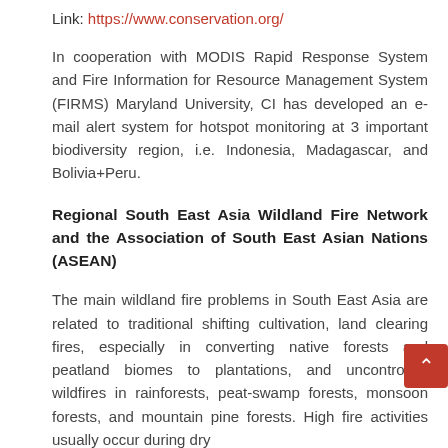Link: https://www.conservation.org/
In cooperation with MODIS Rapid Response System and Fire Information for Resource Management System (FIRMS) Maryland University, CI has developed an e-mail alert system for hotspot monitoring at 3 important biodiversity region, i.e. Indonesia, Madagascar, and Bolivia+Peru.
Regional South East Asia Wildland Fire Network and the Association of South East Asian Nations (ASEAN)
The main wildland fire problems in South East Asia are related to traditional shifting cultivation, land clearing fires, especially in converting native forests and peatland biomes to plantations, and uncontrolled wildfires in rainforests, peat-swamp forests, monsoon forests, and mountain pine forests. High fire activities usually occur during dry